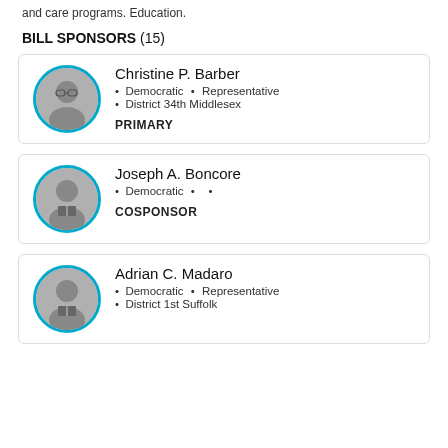and care programs. Education.
BILL SPONSORS (15)
Christine P. Barber
• Democratic • Representative
• District 34th Middlesex
PRIMARY
Joseph A. Boncore
• Democratic • •
COSPONSOR
Adrian C. Madaro
• Democratic • Representative
• District 1st Suffolk